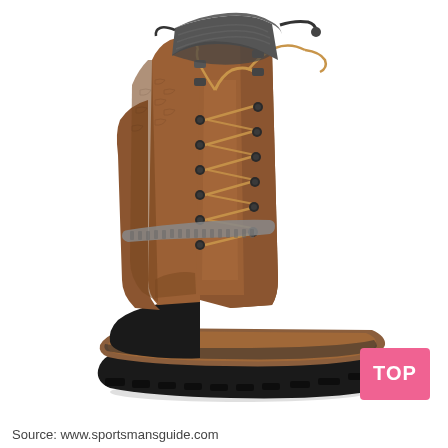[Figure (photo): A tall lace-up winter/snow boot with brown leather upper, gray textile collar with drawstring, metal D-ring and hook lace hardware, gray reflective strap across the ankle, chunky dark rubber outsole with traction lugs, and a brown midsole. The boot is photographed on a white background.]
Source: www.sportsmansguide.com